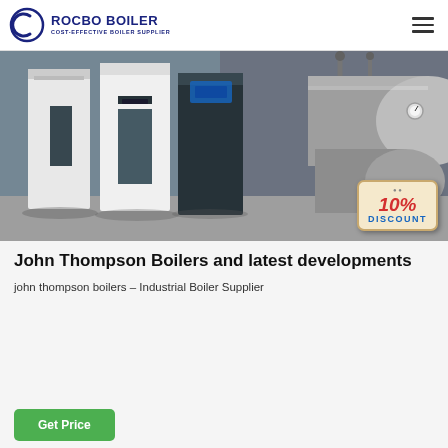ROCBO BOILER — COST-EFFECTIVE BOILER SUPPLIER
[Figure (photo): Industrial boilers in a warehouse setting — white and dark upright boilers on the left, large cylindrical horizontal boilers on the right. A '10% DISCOUNT' badge overlaid at bottom-right corner.]
John Thompson Boilers and latest developments
john thompson boilers – Industrial Boiler Supplier